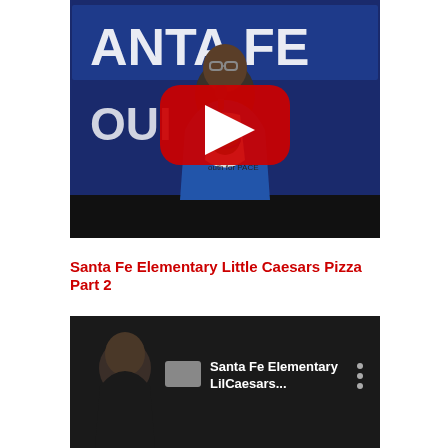[Figure (screenshot): YouTube video thumbnail showing a woman in a blue jacket speaking at a microphone in front of a Santa Fe banner with a YouTube play button overlay]
Santa Fe Elementary Little Caesars Pizza Part 2
[Figure (screenshot): YouTube video thumbnail showing a man in dark clothing next to text 'Santa Fe Elementary LilCaesars...' with a three-dot menu icon]